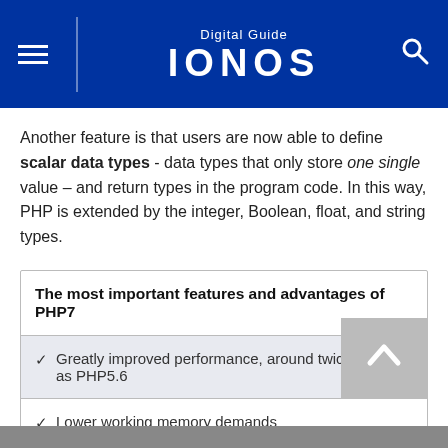Digital Guide IONOS
Another feature is that users are now able to define scalar data types - data types that only store one single value – and return types in the program code. In this way, PHP is extended by the integer, Boolean, float, and string types.
The most important features and advantages of PHP7
Greatly improved performance, around twice as fast as PHP5.6
Lower working memory demands
Implementation of an abstract syntax tree for generating bytecode